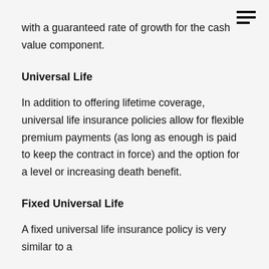with a guaranteed rate of growth for the cash value component.
Universal Life
In addition to offering lifetime coverage, universal life insurance policies allow for flexible premium payments (as long as enough is paid to keep the contract in force) and the option for a level or increasing death benefit.
Fixed Universal Life
A fixed universal life insurance policy is very similar to a